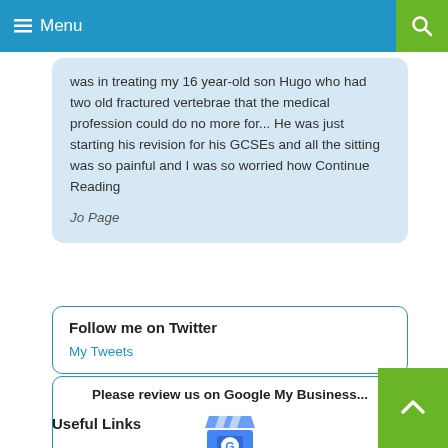Menu
was in treating my 16 year-old son Hugo who had two old fractured vertebrae that the medical profession could do no more for... He was just starting his revision for his GCSEs and all the sitting was so painful and I was so worried how Continue Reading
Jo Page
Follow me on Twitter
My Tweets
Please review us on Google My Business...
[Figure (logo): Google My Business store icon with blue awning and G logo]
Useful Links